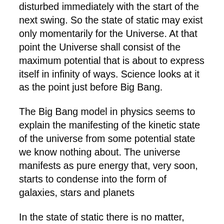disturbed immediately with the start of the next swing. So the state of static may exist only momentarily for the Universe. At that point the Universe shall consist of the maximum potential that is about to express itself in infinity of ways. Science looks at it as the point just before Big Bang.
The Big Bang model in physics seems to explain the manifesting of the kinetic state of the universe from some potential state we know nothing about. The universe manifests as pure energy that, very soon, starts to condense into the form of galaxies, stars and planets
In the state of static there is no matter, energy, space, time, or even awareness. There is only a potential for all these things. We do not know what causes this potential. It may be some Cosmic influence, similar to gravity that keeps a pendulum swinging.